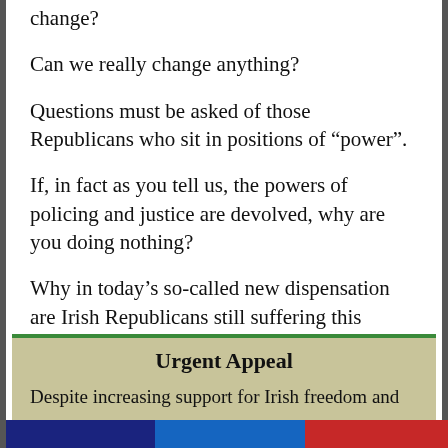change?
Can we really change anything?
Questions must be asked of those Republicans who sit in positions of “power”.
If, in fact as you tell us, the powers of policing and justice are devolved, why are you doing nothing?
Why in today’s so-called new dispensation are Irish Republicans still suffering this degradation?
Has anything really changed?
Urgent Appeal
Despite increasing support for Irish freedom and